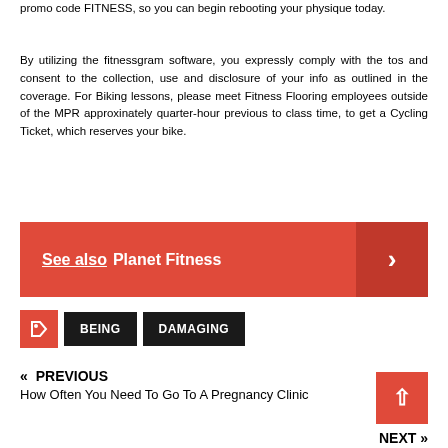promo code FITNESS, so you can begin rebooting your physique today.
By utilizing the fitnessgram software, you expressly comply with the tos and consent to the collection, use and disclosure of your info as outlined in the coverage. For Biking lessons, please meet Fitness Flooring employees outside of the MPR approxinately quarter-hour previous to class time, to get a Cycling Ticket, which reserves your bike.
See also  Planet Fitness
BEING  DAMAGING
« PREVIOUS
How Often You Need To Go To A Pregnancy Clinic
NEXT »